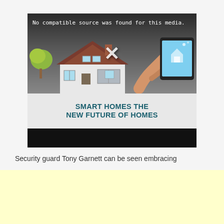[Figure (screenshot): Video player showing 'No compatible source was found for this media.' message, with an illustrated smart home graphic showing a house and a hand holding a tablet, and text 'SMART HOMES THE NEW FUTURE OF HOMES' below the illustration. The video has a black bottom bar.]
Security guard Tony Garnett can be seen embracing
[Figure (other): Yellow/cream advertisement banner area at bottom of page.]